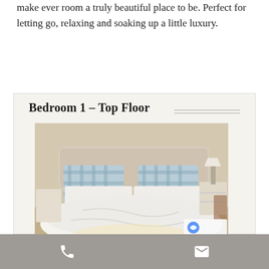make ever room a truly beautiful place to be. Perfect for letting go, relaxing and soaking up a little luxury.
Bedroom 1 – Top Floor
[Figure (photo): Photo of a luxury bedroom with a large double bed, white linens, blue gingham/plaid cushions, cream upholstered headboard, bedside table with lamp, warm lighting.]
Phone and email icons on grey bar